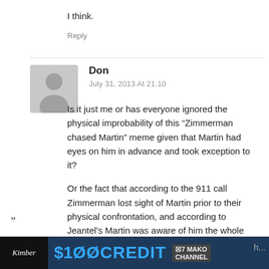I think.
Reply
Don
July 31, 2013 At 21:10
Is it just me or has everyone ignored the physical improbability of this “Zimmerman chased Martin” meme given that Martin had eyes on him in advance and took exception to it?
Or the fact that according to the 911 call Zimmerman lost sight of Martin prior to their physical confrontation, and according to Jeantel’s Martin was aware of him the whole
[Figure (other): Advertisement banner showing a gun logo on the left, '$100 CREDIT' text in blue, and 'MAKO' channel logo on dark background.]